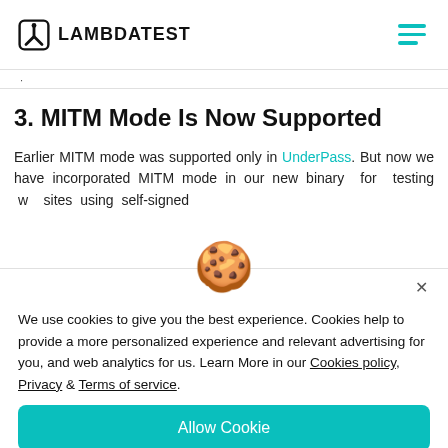LAMBDATEST
3. MITM Mode Is Now Supported
Earlier MITM mode was supported only in UnderPass. But now we have incorporated MITM mode in our new binary for testing websites using self-signed
[Figure (illustration): Cookie emoji icon used in cookie consent popup]
We use cookies to give you the best experience. Cookies help to provide a more personalized experience and relevant advertising for you, and web analytics for us. Learn More in our Cookies policy, Privacy & Terms of service.
Allow Cookie